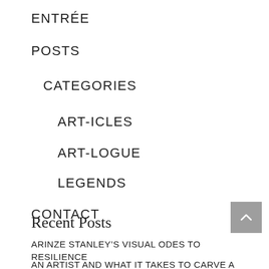ENTRÉE
POSTS
CATEGORIES
ART-ICLES
ART-LOGUE
LEGENDS
CONTACT
Recent Posts
ARINZE STANLEY'S VISUAL ODES TO RESILIENCE
AN ARTIST AND WHAT IT TAKES TO CARVE A